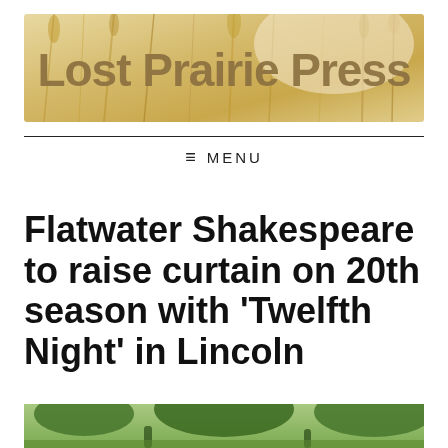[Figure (logo): Lost Prairie Press banner logo with wheat/prairie grass background and tan/brown text overlay]
≡ MENU
Flatwater Shakespeare to raise curtain on 20th season with 'Twelfth Night' in Lincoln
[Figure (photo): Bottom portion of an outdoor photo showing people in a naturalistic setting with trees]